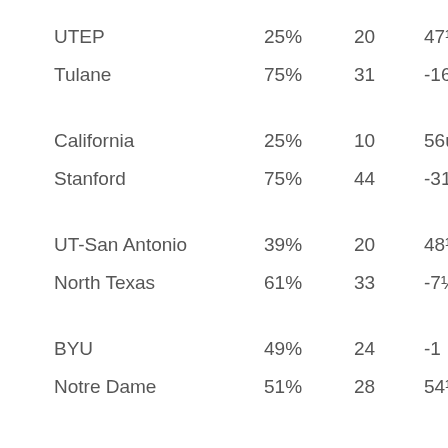| Team | Pct | Pts | Line |
| --- | --- | --- | --- |
| UTEP | 25% | 20 | 47½u |
| Tulane | 75% | 31 | -16½ |
| California | 25% | 10 | 56u |
| Stanford | 75% | 44 | -31½ |
| UT-San Antonio | 39% | 20 | 48½u |
| North Texas | 61% | 33 | -7½ |
| BYU | 49% | 24 | -1 |
| Notre Dame | 51% | 28 | 54½u |